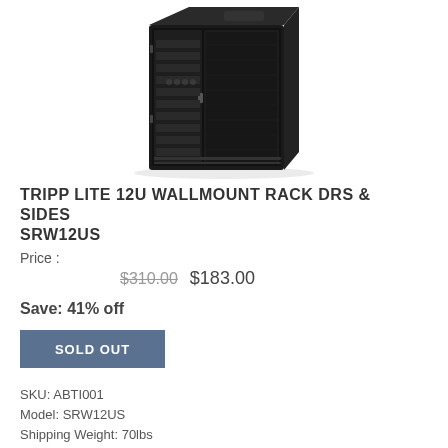[Figure (photo): Product photo of Tripp Lite 12U wall mount rack enclosure, black, with glass door and ventilated sides, shown at an angle.]
TRIPP LITE 12U WALLMOUNT RACK DRS & SIDES SRW12US
Price :
$310.00  $183.00
Save: 41% off
SOLD OUT
SKU: ABTI001
Model: SRW12US
Shipping Weight: 70lbs
0 Units in Stock
Manufactured by: Tripp Lite